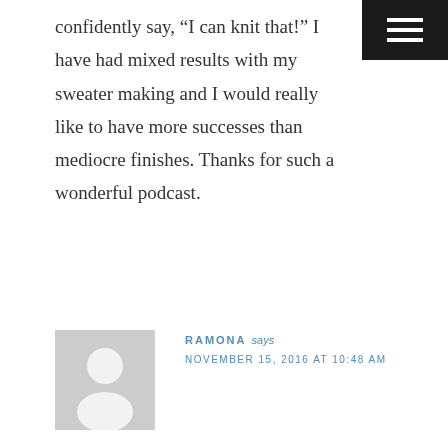confidently say, “I can knit that!” I have had mixed results with my sweater making and I would really like to have more successes than mediocre finishes. Thanks for such a wonderful podcast.
Reply
[Figure (illustration): Generic user avatar placeholder: gray square with white silhouette of a person (head circle and shoulders)]
RAMONA says
NOVEMBER 15, 2016 AT 10:48 AM